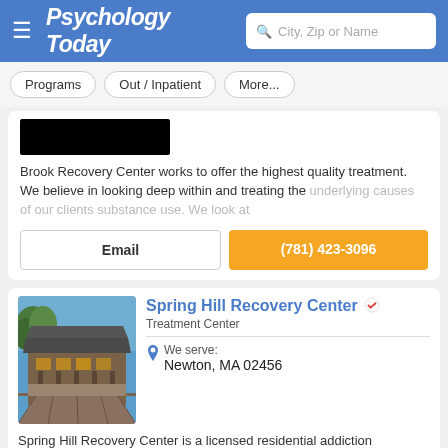Psychology Today — City, Zip or Name search
Programs
Out / Inpatient
More...
[Figure (other): Redacted black rectangle (logo area)]
Brook Recovery Center works to offer the highest quality treatment. We believe in looking deep within and treating the underlying causes of our clients substance use. We look at
Email
(781) 423-3096
Spring Hill Recovery Center
Treatment Center
We serve: Newton, MA 02456
[Figure (photo): Exterior photo of Spring Hill Recovery Center building, showing a wooden walkway/deck leading to a rustic building with trees in the background]
Spring Hill Recovery Center is a licensed residential addiction